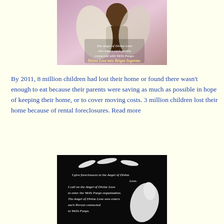[Figure (photo): Child with angel wings and text overlay: 'The Angel of Divine Love now enters each person connected with Wells Fargo. Divine Love now Reigns Supreme.']
By 2011, 8 million children had lost their home or found there wasn't enough to eat because their parents were saving as much as possible in hope of keeping their home, or to cover moving costs. 3 million children lost their home because of rental foreclosures. Read more
[Figure (photo): Dark background image with white egrets/herons and handwritten-style text: 'I give foreclosures to the Angel of Divine Love. I call on the Angel of Divine Love to enter the Wells Fargo organization. The Angel of Divine Love now enters each Person connected to Wells Fargo.']